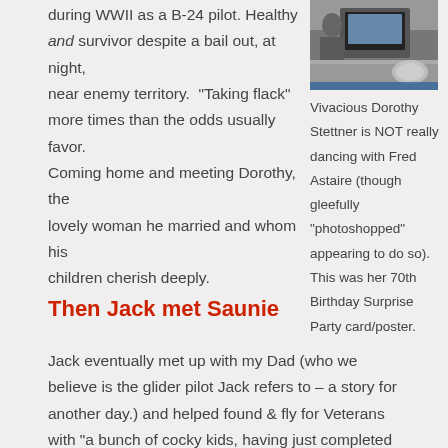during WWII as a B-24 pilot. Healthy and survivor despite a bail out, at night, near enemy territory.  "Taking flack" more times than the odds usually favor. Coming home and meeting Dorothy, the lovely woman he married and whom his children cherish deeply.
[Figure (photo): Photo of a person at a table with a tablet/device, dark background]
Vivacious Dorothy Stettner is NOT really dancing with Fred Astaire (though gleefully "photoshopped" appearing to do so). This was her 70th Birthday Surprise Party card/poster.
Then Jack met Saunie
Jack eventually met up with my Dad (who we believe is the glider pilot Jack refers to – a story for another day.) and helped found & fly for Veterans with "a bunch of cocky kids, having just completed